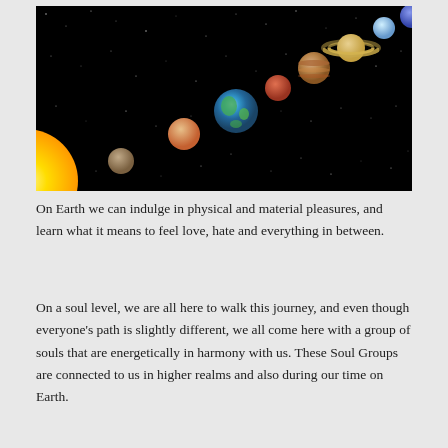[Figure (illustration): Illustration of the solar system showing planets lined up diagonally from lower-left to upper-right against a black starry background. From left: the Sun (yellow, partially visible), Mercury, Venus, Earth (blue-green), Mars, Jupiter, Saturn (with rings), Uranus, Neptune.]
On Earth we can indulge in physical and material pleasures, and learn what it means to feel love, hate and everything in between.
On a soul level, we are all here to walk this journey, and even though everyone's path is slightly different, we all come here with a group of souls that are energetically in harmony with us. These Soul Groups are connected to us in higher realms and also during our time on Earth.